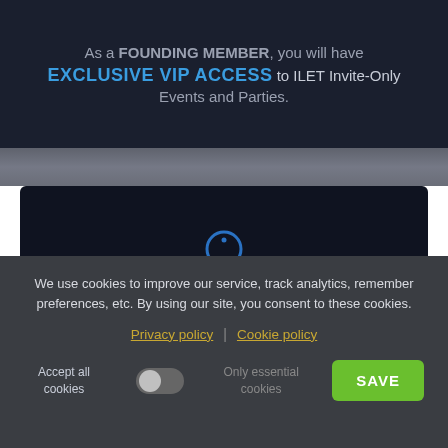As a FOUNDING MEMBER, you will have EXCLUSIVE VIP ACCESS to ILET Invite-Only Events and Parties.
[Figure (illustration): Blue lightbulb icon centered in a dark card]
Influence the Network.
We use cookies to improve our service, track analytics, remember preferences, etc. By using our site, you consent to these cookies.
Privacy policy | Cookie policy
Accept all cookies | Only essential cookies | SAVE